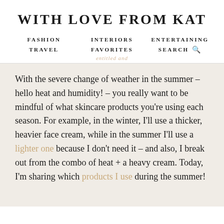WITH LOVE FROM KAT
FASHION   INTERIORS   ENTERTAINING
TRAVEL   FAVORITES   SEARCH
With the severe change of weather in the summer – hello heat and humidity! – you really want to be mindful of what skincare products you're using each season. For example, in the winter, I'll use a thicker, heavier face cream, while in the summer I'll use a lighter one because I don't need it – and also, I break out from the combo of heat + a heavy cream. Today, I'm sharing which products I use during the summer!